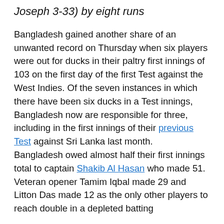Joseph 3-33) by eight runs
Bangladesh gained another share of an unwanted record on Thursday when six players were out for ducks in their paltry first innings of 103 on the first day of the first Test against the West Indies. Of the seven instances in which there have been six ducks in a Test innings, Bangladesh now are responsible for three, including in the first innings of their previous Test against Sri Lanka last month. Bangladesh owed almost half their first innings total to captain Shakib Al Hasan who made 51. Veteran opener Tamim Iqbal made 29 and Litton Das made 12 as the only other players to reach double in a depleted batting line-up. The innings also lost about 33.5...